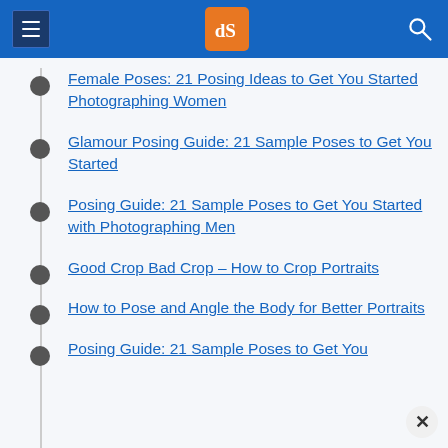[Figure (screenshot): Website header with hamburger menu icon on left, dPS logo (orange square with dS) in center, search icon on right, on blue background]
Female Poses: 21 Posing Ideas to Get You Started Photographing Women
Glamour Posing Guide: 21 Sample Poses to Get You Started
Posing Guide: 21 Sample Poses to Get You Started with Photographing Men
Good Crop Bad Crop – How to Crop Portraits
How to Pose and Angle the Body for Better Portraits
Posing Guide: 21 Sample Poses to Get You